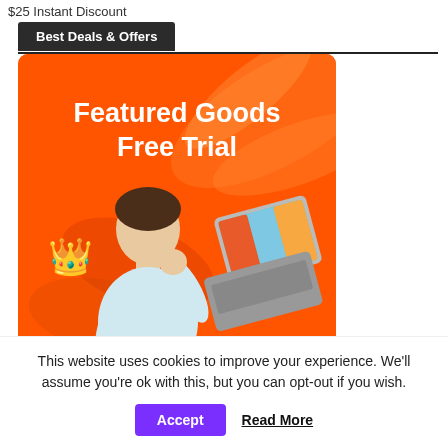$25 Instant Discount
Best Deals & Offers
[Figure (illustration): Promotional banner with orange background showing 'Featured Goods Free Trial' text, a crown emoji, an excited man holding a phone, and a convertible laptop. Text 'Black' partially visible at bottom.]
This website uses cookies to improve your experience. We'll assume you're ok with this, but you can opt-out if you wish.
Accept    Read More